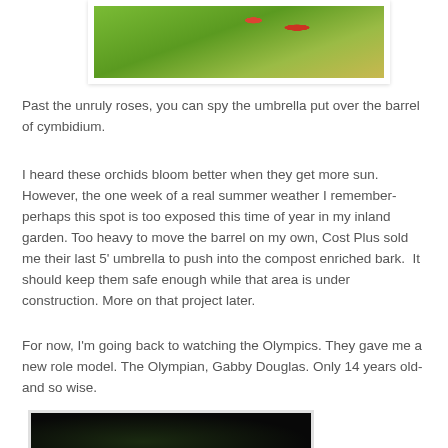[Figure (photo): Photo of roses and garden plants with green foliage and red roses]
Past the unruly roses, you can spy the umbrella put over the barrel of cymbidium.
I heard these orchids bloom better when they get more sun. However, the one week of a real summer weather I remember- perhaps this spot is too exposed this time of year in my inland garden. Too heavy to move the barrel on my own, Cost Plus sold me their last 5' umbrella to push into the compost enriched bark.  It should keep them safe enough while that area is under construction. More on that project later.
For now, I'm going back to watching the Olympics. They gave me a new role model. The Olympian, Gabby Douglas. Only 14 years old- and so wise.
[Figure (photo): Dark photograph, likely of a TV screen showing Olympics coverage]